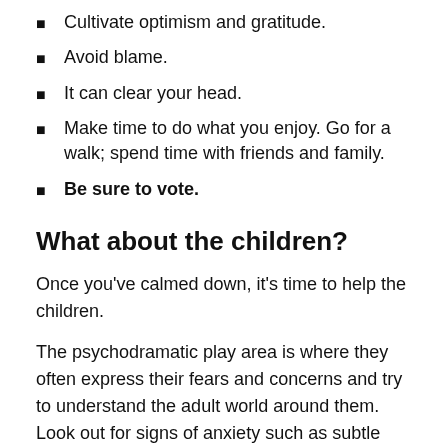Cultivate optimism and gratitude.
Avoid blame.
It can clear your head.
Make time to do what you enjoy. Go for a walk; spend time with friends and family.
Be sure to vote.
What about the children?
Once you've calmed down, it's time to help the children.
The psychodramatic play area is where they often express their fears and concerns and try to understand the adult world around them. Look out for signs of anxiety such as subtle changes in behavior—a child who normally enjoys the company of her peers is sitting by herself; another may be pacing or just wandering around the room. Some